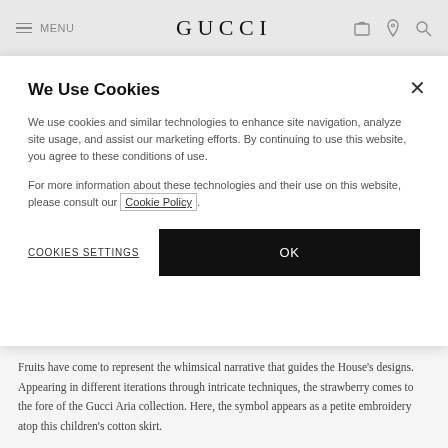MENU | GUCCI
We Use Cookies
We use cookies and similar technologies to enhance site navigation, analyze site usage, and assist our marketing efforts. By continuing to use this website, you agree to these conditions of use.
For more information about these technologies and their use on this website, please consult our Cookie Policy.
COOKIES SETTINGS   OK
Fruits have come to represent the whimsical narrative that guides the House's designs. Appearing in different iterations through intricate techniques, the strawberry comes to the fore of the Gucci Aria collection. Here, the symbol appears as a petite embroidery atop this children's cotton skirt.
Light blue cotton piquet